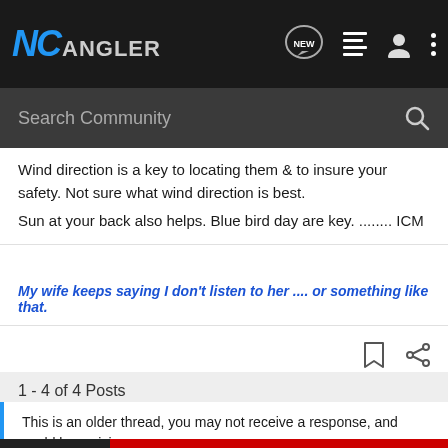NC Angler
Wind direction is a key to locating them & to insure your safety. Not sure what wind direction is best.
Sun at your back also helps. Blue bird day are key. ........ ICM
My wife keeps saying I don't listen to her .... or something like that.
1 - 4 of 4 Posts
This is an older thread, you may not receive a response, and could be reviving
[Figure (screenshot): Advertisement banner: YOUR NEW FAVORITE SPORT - EXPLORE HOW TO RESPONSIBLY PARTICIPATE IN THE SHOOTING SPORTS. START HERE!]